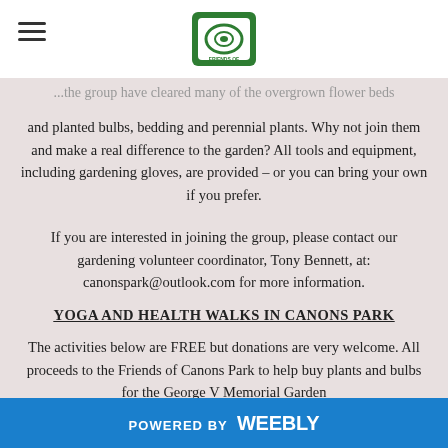[Logo: Friends of Canons Park]
...the group have cleared many of the overgrown flower beds and planted bulbs, bedding and perennial plants. Why not join them and make a real difference to the garden? All tools and equipment, including gardening gloves, are provided – or you can bring your own if you prefer.
If you are interested in joining the group, please contact our gardening volunteer coordinator, Tony Bennett, at: canonspark@outlook.com for more information.
YOGA AND HEALTH WALKS IN CANONS PARK
The activities below are FREE but donations are very welcome. All proceeds to the Friends of Canons Park to help buy plants and bulbs for the George V Memorial Garden
HEALTH WALKS – 8am - 9am
Join the range of health walks and activities...
POWERED BY weebly